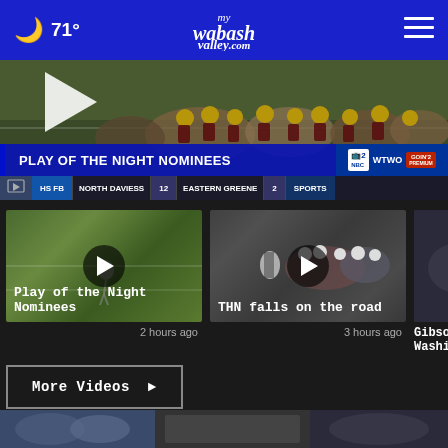71° mywabashvalley.com
[Figure (screenshot): Hero video player showing football players on field with text overlay 'PLAY OF THE NIGHT NOMINEES', NBC2 WTWO badge, ticker bar showing HS FB | NORTH DAVIESS 12 | EASTERN GREENE 2 | SPORTS]
[Figure (screenshot): Video thumbnail of football field play with play button circle overlay, title 'Play of the Night Nominees', timestamp '2 hours ago']
[Figure (screenshot): Video thumbnail of football game action with play button circle overlay, title 'THN falls on the road', timestamp '3 hours ago']
[Figure (screenshot): Partial video thumbnail, title starting with 'Gibson... Washi...']
More Videos ▸
[Figure (screenshot): Bottom strip showing three partially visible thumbnail images]